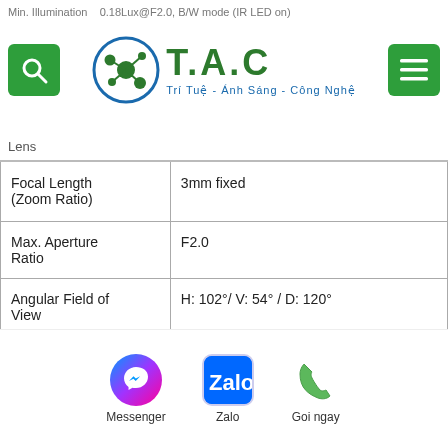T.A.C – Trí Tuệ - Ánh Sáng - Công Nghệ | Min. Illumination | Lens
| Parameter | Value |
| --- | --- |
| Focal Length (Zoom Ratio) | 3mm fixed |
| Max. Aperture Ratio | F2.0 |
| Angular Field of View | H: 102°/ V: 54° / D: 120° |
| Min. Object Distance | 0.5m |
| Len/Mount Type | Fixed / Board-in type |
| Operational |  |
| IR Viewable |  |
Messenger | Zalo | Goi ngay